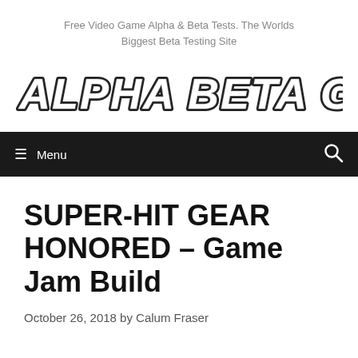Free Video Game Alpha & Beta Tests. The Worlds Biggest Beta Testing Site
[Figure (logo): Alpha Beta Gamer logo in bold white chunky italic text with dark drop shadow outline]
Menu
SUPER-HIT GEAR HONORED – Game Jam Build
October 26, 2018 by Calum Fraser